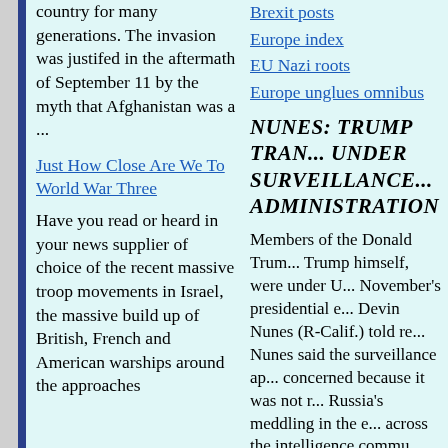families had lived in that country for many generations. The invasion was justifed in the aftermath of September 11 by the myth that Afghanistan was a ...
Brexit posts
Europe index
EU Nazi roots
Europe unglues omnibus
Nunes: Trump tran... under surveillance... Administration
Just How Close Are We To World War Three
Have you read or heard in your news supplier of choice of the recent massive troop movements in Israel, the massive build up of British, French and American warships around the approaches
Members of the Donald Trum... Trump himself, were under U... November’s presidential e... Devin Nunes (R-Calif.) told re... Nunes said the surveillance ap... concerned because it was not r... Russia’s meddling in the e... across the intelligence commu... that clearly show that the pres... least monitored,” Nunes tol...